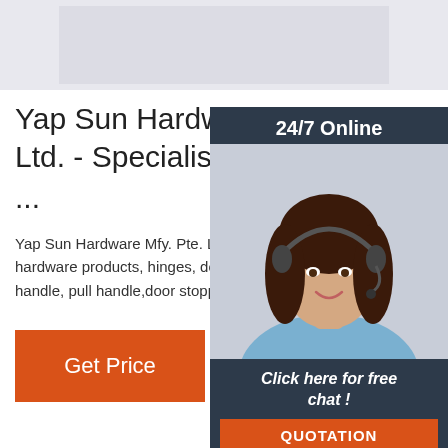[Figure (photo): Grey placeholder image area at top of page, showing a faded website screenshot background]
Yap Sun Hardware Mfy. Ltd. - Specialist in Hardw...
Yap Sun Hardware Mfy. Pte. Ltd. - speciali hardware products, hinges, door lock,leve handle, pull handle,door stopper,cylinders
[Figure (photo): 24/7 Online chat widget on the right side showing a woman with headset smiling, dark navy background, with 'Click here for free chat!' text and orange QUOTATION button]
Get Price